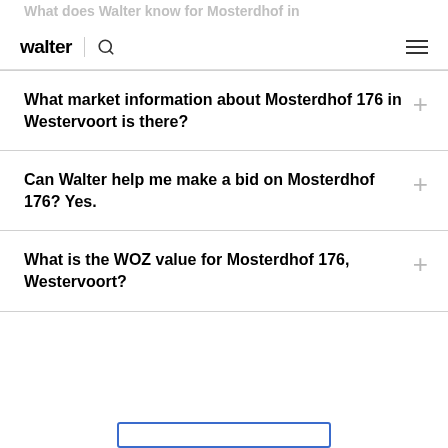walter
What market information about Mosterdhof 176 in Westervoort is there?
Can Walter help me make a bid on Mosterdhof 176? Yes.
What is the WOZ value for Mosterdhof 176, Westervoort?